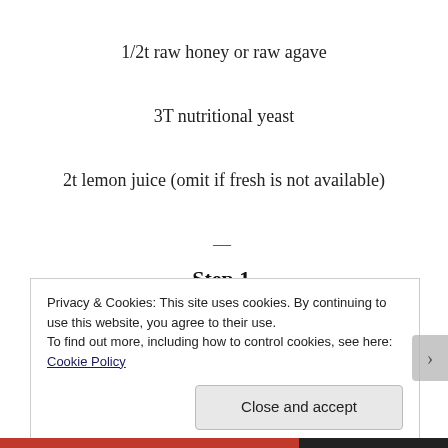1/2t raw honey or raw agave
3T nutritional yeast
2t lemon juice (omit if fresh is not available)
—
Step 1.
Privacy & Cookies: This site uses cookies. By continuing to use this website, you agree to their use.
To find out more, including how to control cookies, see here: Cookie Policy
Close and accept